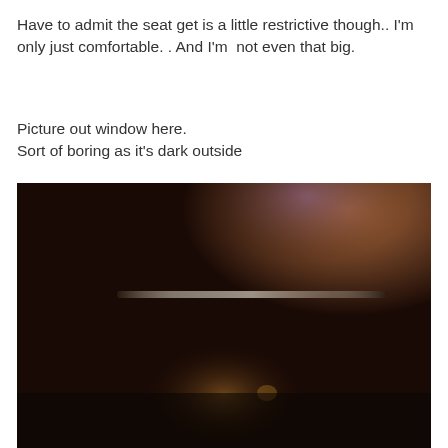Have to admit the seat get is a little restrictive though.. I'm only just comfortable. . And I'm  not even that big.
Picture out window here.
Sort of boring as it's dark outside
[Figure (photo): A dark, blurry photograph taken through a window at night. The image is mostly very dark browns and blacks, with a faint horizontal light streak or reflection visible in the upper-middle portion, a small warm orange/yellow glow in the lower center, and some warm amber tones on the right side.]